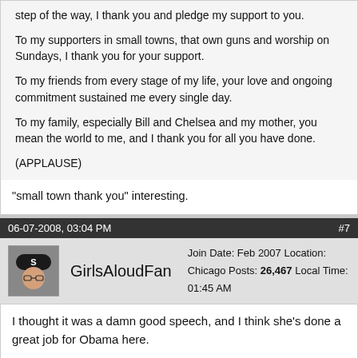step of the way, I thank you and pledge my support to you.

To my supporters in small towns, that own guns and worship on Sundays, I thank you for your support.

To my friends from every stage of my life, your love and ongoing commitment sustained me every single day.

To my family, especially Bill and Chelsea and my mother, you mean the world to me, and I thank you for all you have done.

(APPLAUSE)
"small town thank you" interesting.
06-07-2008, 03:04 PM
#7
GirlsAloudFan
Join Date: Feb 2007
Location: Chicago
Posts: 26,467
Local Time: 01:45 AM
I thought it was a damn good speech, and I think she's done a great job for Obama here.

Did anyone notice the clearly audible chorus of boos from her throng